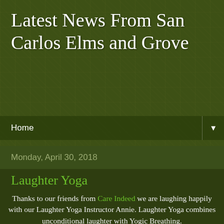Latest News From San Carlos Elms and Grove
Home
Monday, April 30, 2018
Laughter Yoga
Thanks to our friends from Care Indeed we are laughing happily with our Laughter Yoga Instructor Annie. Laughter Yoga combines unconditional laughter with Yogic Breathing. Laughter is simulated as a body exercise in a group; with eye contact and childlike playfulness, it soon turns into real and contagious laughter. The concept of Laughter Yoga is based on a scientific face that the body cannot differentiate between fake and real laughter. One gets the same